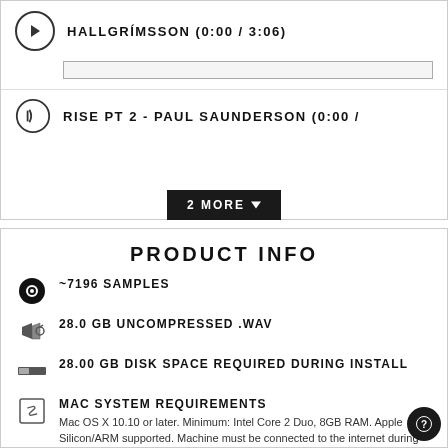HALLGRÍMSSON (0:00 / 3:06)
RISE PT 2 - PAUL SAUNDERSON (0:00 /
2 MORE
PRODUCT INFO
~7196 SAMPLES
28.0 GB UNCOMPRESSED .WAV
28.00 GB DISK SPACE REQUIRED DURING INSTALL
MAC SYSTEM REQUIREMENTS — Mac OS X 10.10 or later. Minimum: Intel Core 2 Duo, 8GB RAM. Apple Silicon/ARM supported. Machine must be connected to the internet during install.
PC SYSTEM REQUIREMENTS — Windows 7, Windows 8, or Windows 10 (latest Service Pack, 32/64-bit) Intel i5 or AMD Ryzen 3. Machine must be connected to the internet during install.
KONTAKT VERSION REQUIREMENTS — Kontakt or Kontakt Player 5.6.8 or higher